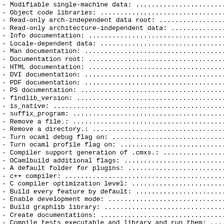- Modifiable single-machine data: ............................
- Object code libraries: .....................................
- Read-only arch-independent data root: ......................
- Read-only architecture-independent data: ...................
- Info documentation: ........................................
- Locale-dependent data: .....................................
- Man documentation: .........................................
- Documentation root: ........................................
- HTML documentation: ........................................
- DVI documentation: .........................................
- PDF documentation: .........................................
- PS documentation: ..........................................
- findlib_version: ...........................................
- is_native: .................................................
- suffix_program: ............................................
- Remove a file.: ............................................
- Remove a directory.: .......................................
- Turn ocaml debug flag on: ..................................
- Turn ocaml profile flag on: ................................
- Compiler support generation of .cmxs.: .....................
- OCamlbuild additional flags: ...............................
- A default folder for plugins: ..............................
- c++ compiler: ..............................................
- C compiler optimization level: .............................
- Build every feature by default: ............................
- Enable development mode: ...................................
- Build graphlib library: ....................................
- Create documentations: .....................................
- Compile tests executable and library and run them: ...
- pkg_core_kernel: ...........................................